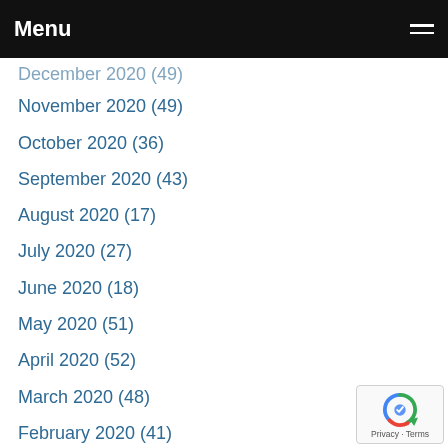Menu
December 2020 (49) [partially cut off at top]
November 2020 (49)
October 2020 (36)
September 2020 (43)
August 2020 (17)
July 2020 (27)
June 2020 (18)
May 2020 (51)
April 2020 (52)
March 2020 (48)
February 2020 (41)
January 2020 (28)
December 2019 (41)
November 2019 (39)
October 2019 (21) [partially cut off at bottom]